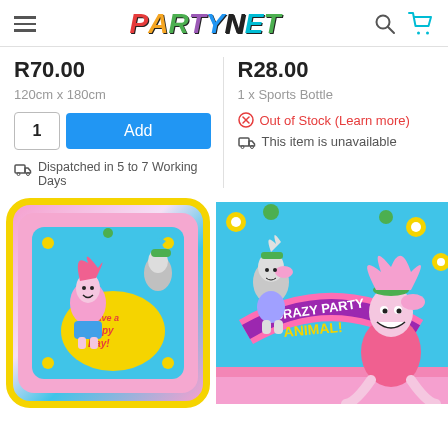PartyNet
R70.00
120cm x 180cm
Add
Dispatched in 5 to 7 Working Days
R28.00
1 x Sports Bottle
Out of Stock (Learn more)
This item is unavailable
[Figure (photo): Trolls 'Have a Poppy Day!' party plate with pink border and yellow center, featuring Poppy character]
[Figure (photo): Trolls 'Crazy Party Animal!' napkin on blue background with Trolls characters]